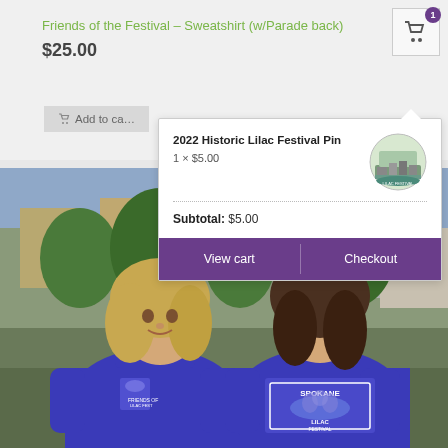Friends of the Festival – Sweatshirt (w/Parade back)
$25.00
Add to cart
2022 Historic Lilac Festival Pin
1 × $5.00
Subtotal: $5.00
View cart
Checkout
[Figure (photo): Two women wearing royal blue Lilac Festival sweatshirts. One faces forward, one faces away showing 'SPOKANE LILAC FESTIVAL' text on the back.]